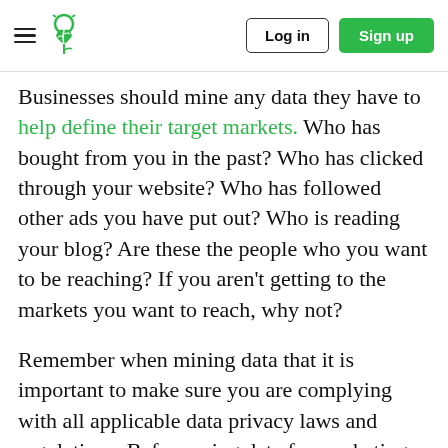Log in | Sign up
Businesses should mine any data they have to help define their target markets. Who has bought from you in the past? Who has clicked through your website? Who has followed other ads you have put out? Who is reading your blog? Are these the people who you want to be reaching? If you aren't getting to the markets you want to reach, why not?
Remember when mining data that it is important to make sure you are complying with all applicable data privacy laws and regulations. Before using data for marketing purposes, verify that you obtained appropriate permissions.